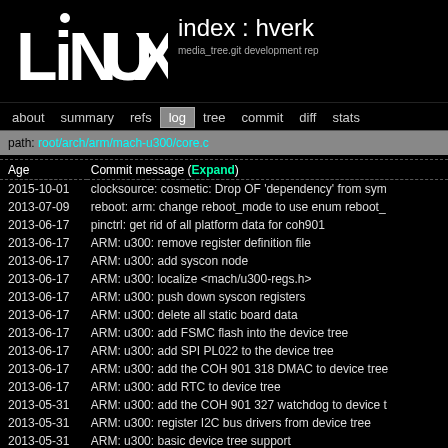[Figure (logo): Linux TV logo in white on black background]
index : hverk
media_tree.git development rep
about  summary  refs  log  tree  commit  diff  stats
path: root/arch/arm/mach-u300/core.c
| Age | Commit message (Expand) |
| --- | --- |
| 2015-10-01 | clocksource: cosmetic: Drop OF 'dependency' from sym |
| 2013-07-09 | reboot: arm: change reboot_mode to use enum reboot_ |
| 2013-06-17 | pinctrl: get rid of all platform data for coh901 |
| 2013-06-17 | ARM: u300: remove register definition file |
| 2013-06-17 | ARM: u300: add syscon node |
| 2013-06-17 | ARM: u300: localize <mach/u300-regs.h> |
| 2013-06-17 | ARM: u300: push down syscon registers |
| 2013-06-17 | ARM: u300: delete all static board data |
| 2013-06-17 | ARM: u300: add FSMC flash into the device tree |
| 2013-06-17 | ARM: u300: add SPI PL022 to the device tree |
| 2013-06-17 | ARM: u300: add the COH 901 318 DMAC to device tree |
| 2013-06-17 | ARM: u300: add RTC to device tree |
| 2013-05-31 | ARM: u300: add the COH 901 327 watchdog to device t |
| 2013-05-31 | ARM: u300: register I2C bus drivers from device tree |
| 2013-05-31 | ARM: u300: basic device tree support |